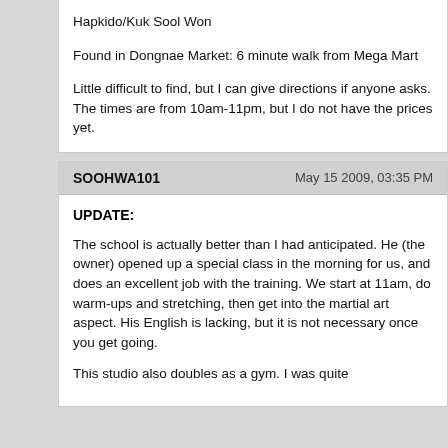Hapkido/Kuk Sool Won
Found in Dongnae Market: 6 minute walk from Mega Mart
Little difficult to find, but I can give directions if anyone asks. The times are from 10am-11pm, but I do not have the prices yet.
SOOHWA101   May 15 2009, 03:35 PM
UPDATE:
The school is actually better than I had anticipated. He (the owner) opened up a special class in the morning for us, and does an excellent job with the training. We start at 11am, do warm-ups and stretching, then get into the martial art aspect. His English is lacking, but it is not necessary once you get going.
This studio also doubles as a gym. I was quite